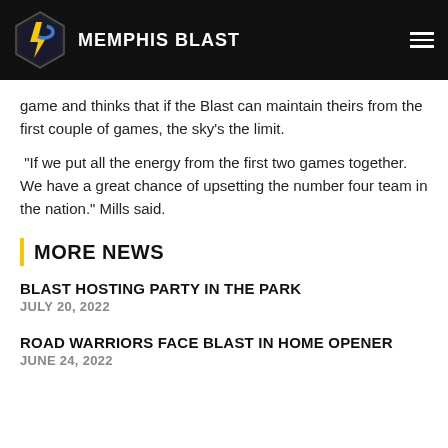MEMPHIS BLAST
game and thinks that if the Blast can maintain theirs from the first couple of games, the sky's the limit.
“If we put all the energy from the first two games together.  We have a great chance of upsetting the number four team in the nation.” Mills said.
MORE NEWS
BLAST HOSTING PARTY IN THE PARK
JULY 20, 2022
ROAD WARRIORS FACE BLAST IN HOME OPENER
JUNE 24, 2022